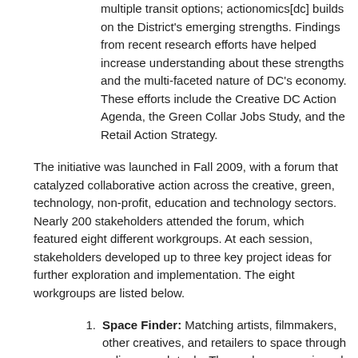multiple transit options; actionomics[dc] builds on the District's emerging strengths. Findings from recent research efforts have helped increase understanding about these strengths and the multi-faceted nature of DC's economy. These efforts include the Creative DC Action Agenda, the Green Collar Jobs Study, and the Retail Action Strategy.
The initiative was launched in Fall 2009, with a forum that catalyzed collaborative action across the creative, green, technology, non-profit, education and technology sectors. Nearly 200 stakeholders attended the forum, which featured eight different workgroups. At each session, stakeholders developed up to three key project ideas for further exploration and implementation. The eight workgroups are listed below.
Space Finder: Matching artists, filmmakers, other creatives, and retailers to space through online search tools. The work group reviewed the development of a retail space clearinghouse for DC and how it could be applied to the space needs of creative and green businesses and activities. This group is of particular interest to arts and